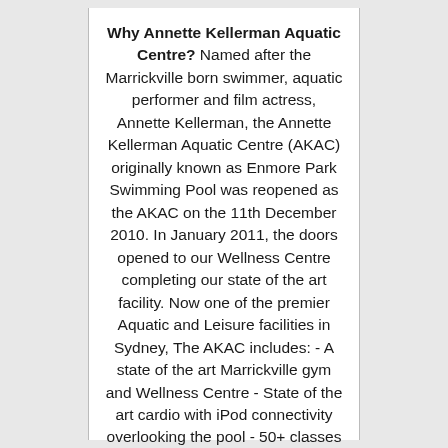Why Annette Kellerman Aquatic Centre? Named after the Marrickville born swimmer, aquatic performer and film actress, Annette Kellerman, the Annette Kellerman Aquatic Centre (AKAC) originally known as Enmore Park Swimming Pool was reopened as the AKAC on the 11th December 2010. In January 2011, the doors opened to our Wellness Centre completing our state of the art facility. Now one of the premier Aquatic and Leisure facilities in Sydney, The AKAC includes: - A state of the art Marrickville gym and Wellness Centre - State of the art cardio with iPod connectivity overlooking the pool - 50+ classes per week